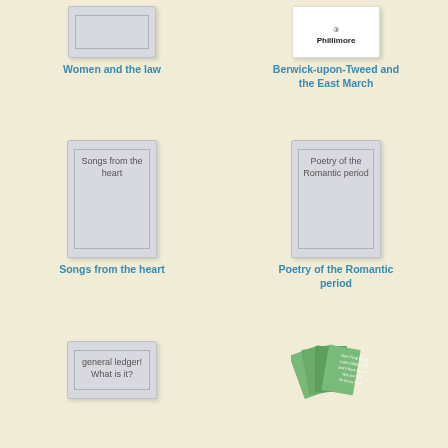[Figure (illustration): Book cover placeholder for 'Women and the law']
Women and the law
[Figure (illustration): Book cover with Phillimore logo for 'Berwick-upon-Tweed and the East March']
Berwick-upon-Tweed and the East March
[Figure (illustration): Book cover placeholder for 'Songs from the heart']
Songs from the heart
[Figure (illustration): Book cover placeholder for 'Poetry of the Romantic period']
Poetry of the Romantic period
[Figure (illustration): Book cover placeholder for 'general ledger! What is it?']
general ledger! What is it?
[Figure (illustration): Fanned green booklets/pamphlets with text on covers]